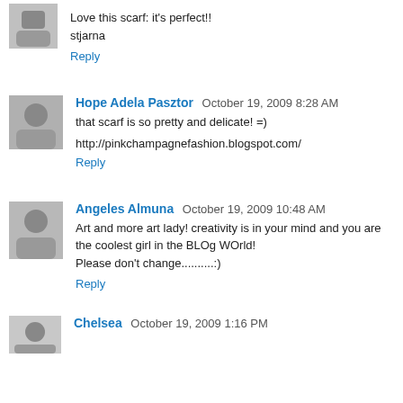Love this scarf: it's perfect!!
stjarna
Reply
Hope Adela Pasztor  October 19, 2009 8:28 AM
that scarf is so pretty and delicate! =)
http://pinkchampagnefashion.blogspot.com/
Reply
Angeles Almuna  October 19, 2009 10:48 AM
Art and more art lady! creativity is in your mind and you are the coolest girl in the BLOg WOrld!
Please don't change..........:)
Reply
Chelsea  October 19, 2009 1:16 PM